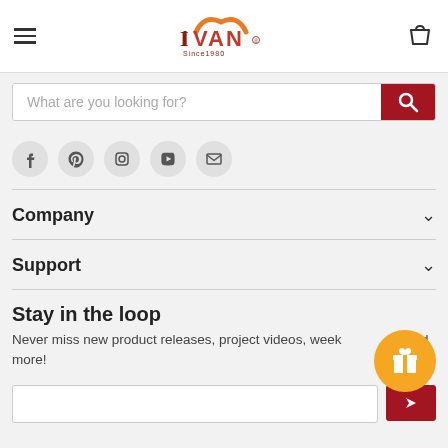IVAN Since 1980 - navigation header with hamburger menu and bag icon
[Figure (screenshot): IVAN Since 1980 logo with orange decorative element]
What are you looking for?
[Figure (infographic): Social media icons row: Facebook, Pinterest, Instagram, YouTube, Email]
Company
Support
Stay in the loop
Never miss new product releases, project videos, weekly tutorials and more!